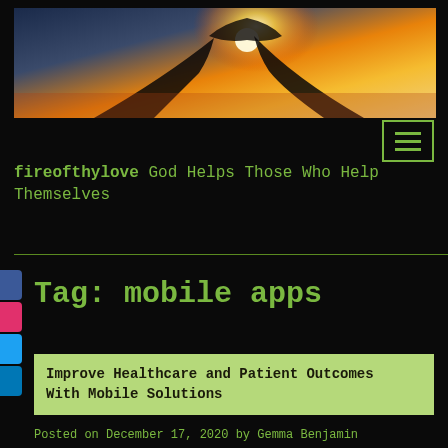[Figure (photo): Sunset photo with silhouette of hands raised against a bright orange and golden sky]
[Figure (other): Hamburger menu icon button with three horizontal lines, bordered in green]
fireofthylove God Helps Those Who Help Themselves
Tag: mobile apps
Improve Healthcare and Patient Outcomes With Mobile Solutions
Posted on December 17, 2020 by Gemma Benjamin